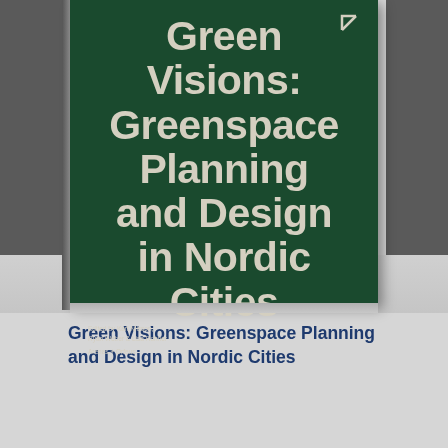[Figure (photo): A book cover for 'Green Visions: Greenspace Planning and Design in Nordic Cities'. The cover is dark green with large cream/off-white bold sans-serif text. Edited by Karl Nilsson, Ryan Weber & Lisa Rohner. Published by Arenas + Orfeus. The book is photographed standing upright on a light gray surface against a dark background.]
Green Visions: Greenspace Planning and Design in Nordic Cities